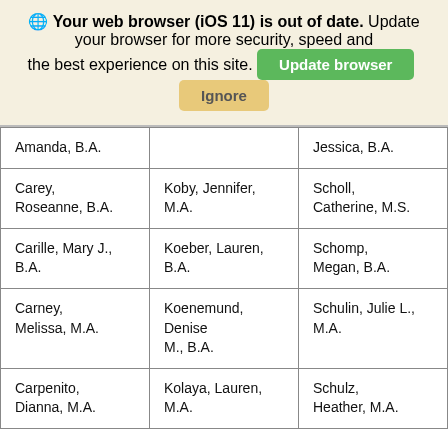🌐 Your web browser (iOS 11) is out of date. Update your browser for more security, speed and the best experience on this site. [Update browser] [Ignore]
| Amanda, B.A. |  | Jessica, B.A. |
| Carey, Roseanne, B.A. | Koby, Jennifer, M.A. | Scholl, Catherine, M.S. |
| Carille, Mary J., B.A. | Koeber, Lauren, B.A. | Schomp, Megan, B.A. |
| Carney, Melissa, M.A. | Koenemund, Denise M., B.A. | Schulin, Julie L., M.A. |
| Carpenito, Dianna, M.A. | Kolaya, Lauren, M.A. | Schulz, Heather, M.A. |